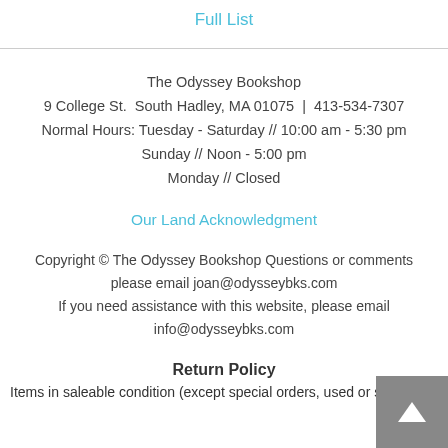Full List
The Odyssey Bookshop
9 College St.  South Hadley, MA 01075  |  413-534-7307
Normal Hours: Tuesday - Saturday // 10:00 am - 5:30 pm
Sunday // Noon - 5:00 pm
Monday // Closed
Our Land Acknowledgment
Copyright © The Odyssey Bookshop Questions or comments please email joan@odysseybks.com
If you need assistance with this website, please email info@odysseybks.com
Return Policy
Items in saleable condition (except special orders, used or sale